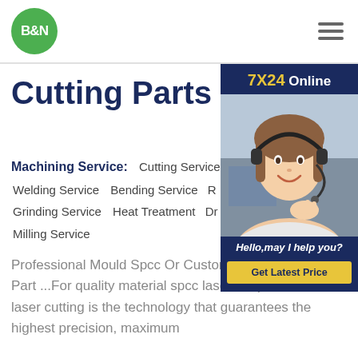[Figure (logo): B&N company logo — white B&N text on green circle]
Cutting Parts
[Figure (photo): Customer service representative with headset smiling, sidebar widget with 7X24 Online header and Hello,may I help you? message and Get Latest Price button]
Machining Service:  Cutting Service  Welding Service  Bending Service  R  Grinding Service  Heat Treatment  Dr  Milling Service
Professional Mould Spcc Or Custom Material Laser Cut Part ...For quality material spcc laser cut parts, custom laser cutting is the technology that guarantees the highest precision, maximum